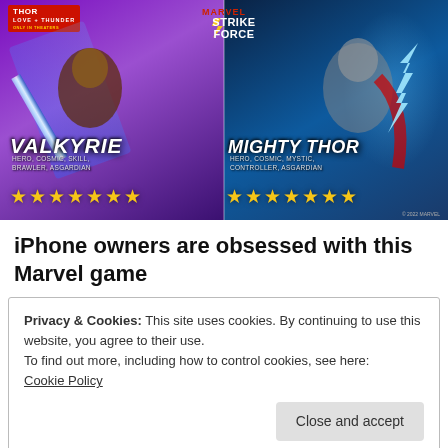[Figure (illustration): Marvel Strike Force game promotional image showing two characters: Valkyrie (left, with blue sword, tagged HERO, COSMIC, SKILL, BRAWLER, ASGARDIAN, 7 gold stars) and Mighty Thor (right, with lightning, tagged HERO, COSMIC, MYSTIC, CONTROLLER, ASGARDIAN, 7 gold stars). Thor: Love and Thunder logo top-left, Marvel Strike Force logo top-center.]
iPhone owners are obsessed with this Marvel game
Privacy & Cookies: This site uses cookies. By continuing to use this website, you agree to their use.
To find out more, including how to control cookies, see here:
Cookie Policy
[Figure (photo): Partial view of a photo strip at the bottom of the page showing faces/people, partially cut off.]